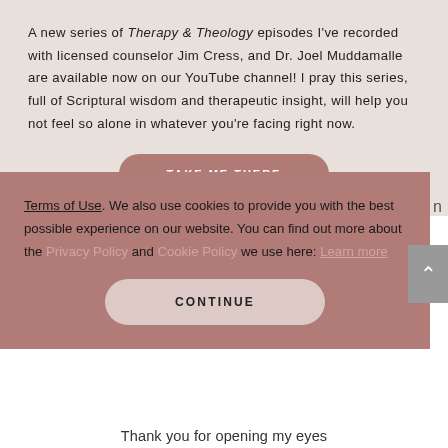A new series of Therapy & Theology episodes I've recorded with licensed counselor Jim Cress, and Dr. Joel Muddamalle are available now on our YouTube channel! I pray this series, full of Scriptural wisdom and therapeutic insight, will help you not feel so alone in whatever you're facing right now.
[Figure (other): Button: TAKE ME THERE (rounded rectangle, mauve/dusty rose color)]
[Figure (logo): Lysa TerKeurst logo with leaf/botanical motif and text in spaced uppercase letters]
Terms of Use. We also use cookies to provide you with the best possible experience on our website. You can find out more about the Privacy Policy and Cookie Policy we use here: Learn more
[Figure (other): Button: CONTINUE (rounded rectangle, light dusty rose color)]
Thank you for opening my eyes